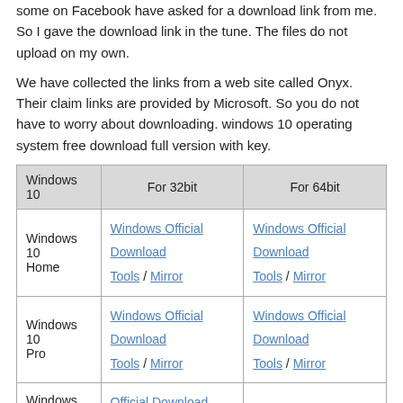some on Facebook have asked for a download link from me. So I gave the download link in the tune. The files do not upload on my own.
We have collected the links from a web site called Onyx. Their claim links are provided by Microsoft. So you do not have to worry about downloading. windows 10 operating system free download full version with key.
| Windows 10 | For 32bit | For 64bit |
| --- | --- | --- |
| Windows 10 Home | Windows Official Download Tools / Mirror | Windows Official Download Tools / Mirror |
| Windows 10 Pro | Windows Official Download Tools / Mirror | Windows Official Download Tools / Mirror |
| Windows 10 Enterprise | Official Download Page |  |